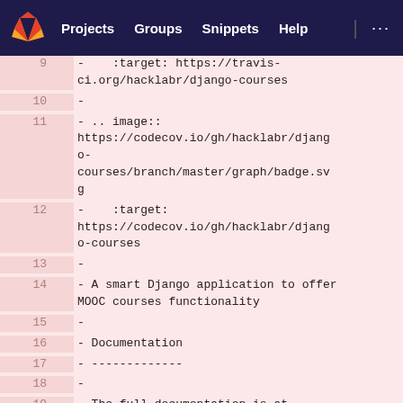Projects   Groups   Snippets   Help
[Figure (screenshot): GitLab code viewer showing lines 9-19 of a RST/text file for django-courses project. Lines show image directive URLs for travis-ci and codecov badges, a description line, documentation section header, and start of full documentation URL.]